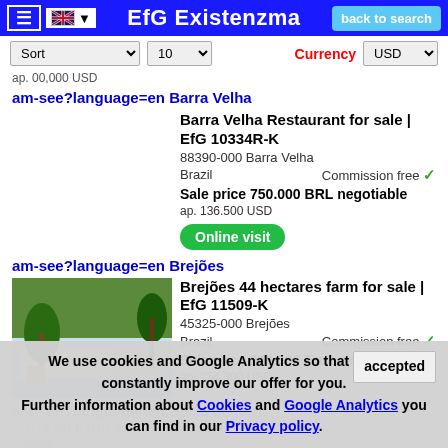EfG Existenzma | back to search
Sort | 10 | Currency USD
ap. 00,000 USD
am-see?language=en Barra Velha
Barra Velha Restaurant for sale | EfG 10334R-K
88390-000 Barra Velha
Brazil   Commission free ✓
Sale price 750.000 BRL negotiable
ap. 136.500 USD
Online visit
am-see?language=en Brejões
[Figure (photo): Outdoor pool area with palm trees and tropical garden at a farm property in Brejões]
Brejões 44 hectares farm for sale | EfG 11509-K
45325-000 Brejões
Brazil   Commission free ✓
Sale price 249.000 Euro negotiable
ap. 254.300 USD
We use cookies and Google Analytics so that we can constantly improve our offer for you. Further information about Cookies and Google Analytics you can find in our Privacy policy.
accepted